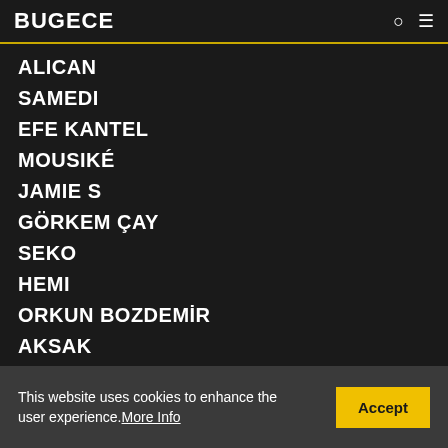BUGECE
ALICAN
SAMEDI
EFE KANTEL
MOUSIKÉ
JAMIE S
GÖRKEM ÇAY
SEKO
HEMI
ORKUN BOZDEMİR
AKSAK
TUTAN
CERVUS
AGAHUZ
This website uses cookies to enhance the user experience. More Info